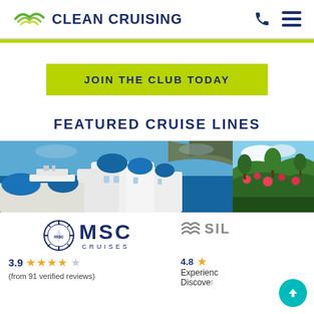CLEAN CRUISING
JOIN THE CLUB TODAY
FEATURED CRUISE LINES
[Figure (photo): Santorini Greece with blue domed churches and a cruise ship in the blue sea]
[Figure (photo): Partially visible tropical landscape with lush vegetation and flowers]
[Figure (logo): MSC Cruises logo with compass rose icon]
3.9 ★★★★☆ (from 91 verified reviews)
[Figure (logo): Silversea logo partially visible]
4.8 ★ Experience Discover